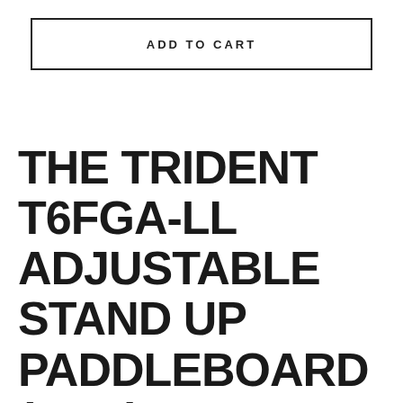ADD TO CART
THE TRIDENT T6FGA-LL ADJUSTABLE STAND UP PADDLEBOARD (SUP) PADDLE BALANCES COMFORT, CONVENIENCE AND CONTROL FOR